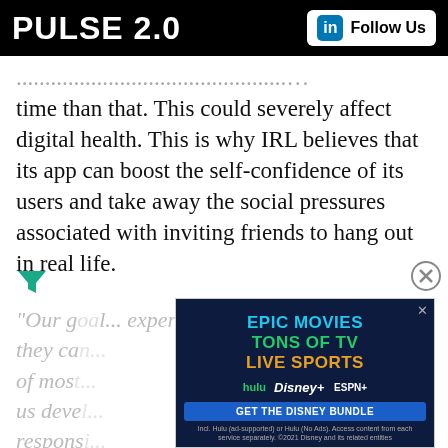PULSE 2.0 | Follow Us
...time than that. This could severely affect digital health. This is why IRL believes that its app can boost the self-confidence of its users and take away the social pressures associated with inviting friends to hang out in real life.
“Our g... people they ca... some of mos... to help us deve... more respons... er the last de...
[Figure (infographic): Disney Bundle advertisement: EPIC MOVIES / TONS OF TV / LIVE SPORTS with Hulu, Disney+, and ESPN+ logos and 'GET THE DISNEY BUNDLE' button]